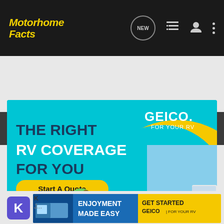[Figure (screenshot): Mobile app navigation bar for Motorhome Facts community with logo, NEW chat bubble, list icon, user icon, and more options icon on dark background]
[Figure (screenshot): Search Community bar with magnifying glass icon on dark gray background]
[Figure (infographic): GEICO RV insurance advertisement: teal background with text 'THE RIGHT RV COVERAGE FOR YOU', yellow 'Start A Quote' button, GEICO logo, gecko mascot, and truck towing RV]
[Figure (infographic): GEICO 'ENJOYMENT MADE EASY' banner ad with blue and yellow sections, GET STARTED text, GEICO FOR YOUR RV logo, and RV image]